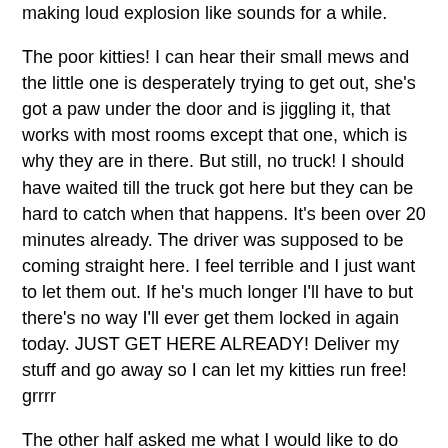making loud explosion like sounds for a while.
The poor kitties! I can hear their small mews and the little one is desperately trying to get out, she's got a paw under the door and is jiggling it, that works with most rooms except that one, which is why they are in there. But still, no truck! I should have waited till the truck got here but they can be hard to catch when that happens. It's been over 20 minutes already. The driver was supposed to be coming straight here. I feel terrible and I just want to let them out. If he's much longer I'll have to but there's no way I'll ever get them locked in again today. JUST GET HERE ALREADY! Deliver my stuff and go away so I can let my kitties run free! grrrr
The other half asked me what I would like to do with the dead fridge. I'd like to send it back to Fisher & Crappel oops Paykel, if you don't mind. I'd like them to stick it where the sun does not shine. Though I realise this may take time and much lubrication.. it's quite a large fridge, but it would make me feel better. 8 years out of a fridge is nowhere near long enough. I would never have bought it, it was given to us by my parents when we moved here to use until we bought our own new fridge.